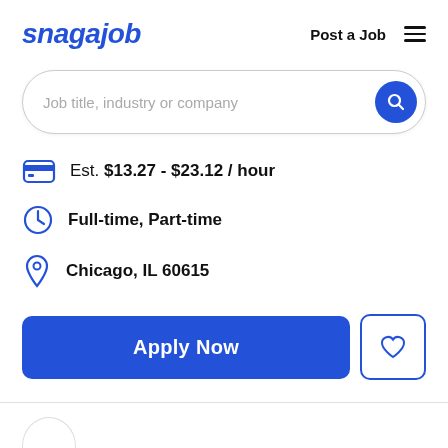snagajob   Post a Job
Job title, industry or company
Est. $13.27 - $23.12 / hour
Full-time, Part-time
Chicago, IL 60615
Apply Now
[Figure (logo): Grubhub logo inside a circle at the bottom left]